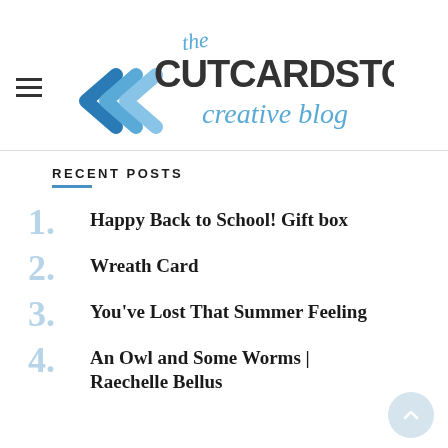[Figure (logo): The CutCardStock Creative Blog logo with double chevron arrows and script text]
RECENT POSTS
Happy Back to School! Gift box
Wreath Card
You've Lost That Summer Feeling
An Owl and Some Worms | Raechelle Bellus